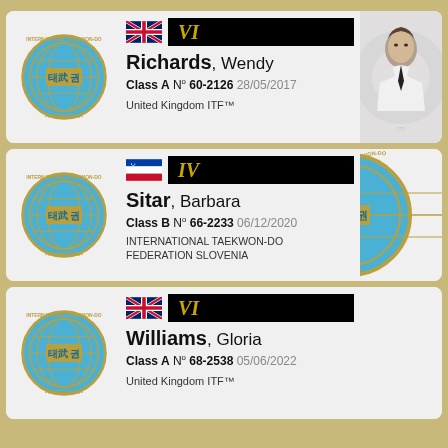[Figure (other): Membership card for Richards, Wendy. ITF logo, UK flag, rank VI, Class A N° 60-2126 28/05/2017, United Kingdom ITF™. Photo of a man in white dobok.]
[Figure (other): Membership card for Sitar, Barbara. ITF logo, Slovenia flag, rank IV, Class B N° 66-2233 06/12/2020, INTERNATIONAL TAEKWON-DO FEDERATION SLOVENIA. Partial ITF logo visible on right side.]
[Figure (other): Membership card for Williams, Gloria. ITF logo, UK flag, rank VI, Class A N° 68-2538 05/06/2022, United Kingdom ITF™.]